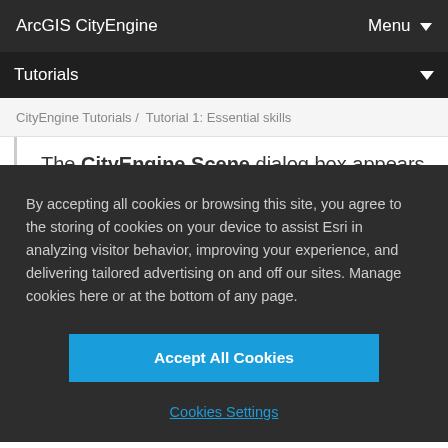ArcGIS CityEngine
Menu
Tutorials
CityEngine Tutorials / Tutorial 1: Essential skills
The CityEngine Scene dialog box appears. Name
By accepting all cookies or browsing this site, you agree to the storing of cookies on your device to assist Esri in analyzing visitor behavior, improving your experience, and delivering tailored advertising on and off our sites. Manage cookies here or at the bottom of any page.
Accept All Cookies
Cookies Settings